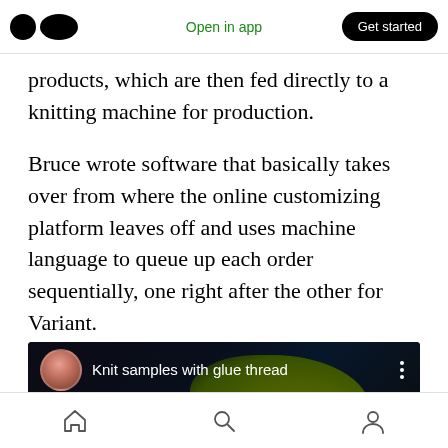Open in app | Get started
products, which are then fed directly to a knitting machine for production.
Bruce wrote software that basically takes over from where the online customizing platform leaves off and uses machine language to queue up each order sequentially, one right after the other for Variant.
[Figure (screenshot): Video thumbnail showing 'Knit samples with glue thread' with a user avatar, dark background, and yellow-green knit fabric visible]
Home | Search | Profile navigation icons